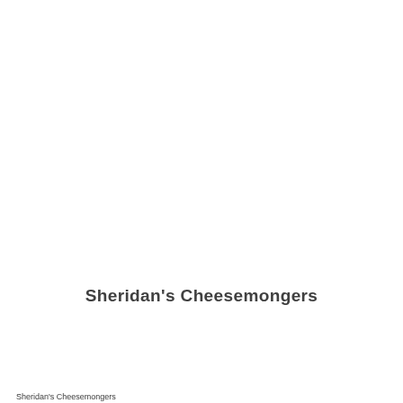Sheridan's Cheesemongers
Sheridan's Cheesemongers